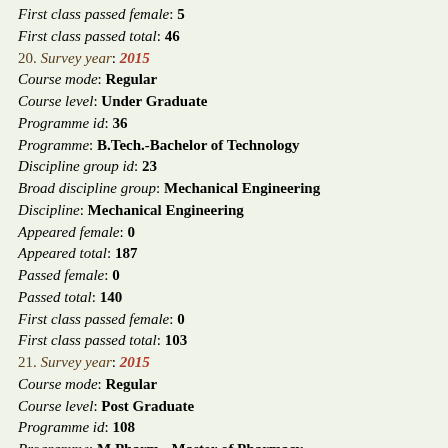First class passed female: 5
First class passed total: 46
20. Survey year: 2015
Course mode: Regular
Course level: Under Graduate
Programme id: 36
Programme: B.Tech.-Bachelor of Technology
Discipline group id: 23
Broad discipline group: Mechanical Engineering
Discipline: Mechanical Engineering
Appeared female: 0
Appeared total: 187
Passed female: 0
Passed total: 140
First class passed female: 0
First class passed total: 103
21. Survey year: 2015
Course mode: Regular
Course level: Post Graduate
Programme id: 108
Programme: M.Pharm. -Master of Pharmacy
Discipline group id: 76
Broad discipline group: Pharmacy
Discipline: Pharmacy
Appeared female: 0
Appeared total: 3